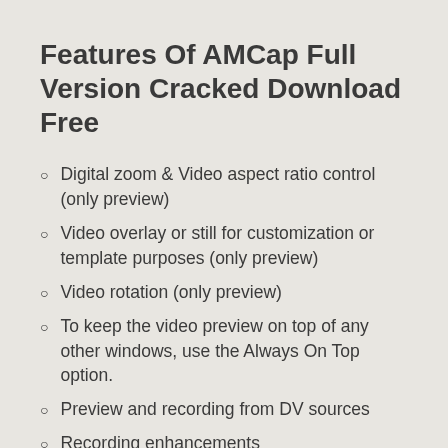Features Of AMCap Full Version Cracked Download Free
Digital zoom & Video aspect ratio control (only preview)
Video overlay or still for customization or template purposes (only preview)
Video rotation (only preview)
To keep the video preview on top of any other windows, use the Always On Top option.
Preview and recording from DV sources
Recording enhancements
MPEG-2 preview
Decompressed video becomes (text cut off)